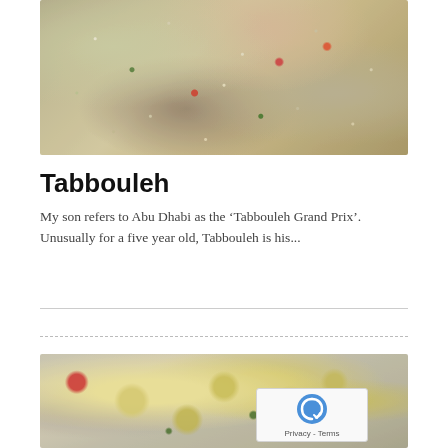[Figure (photo): Close-up photo of tabbouleh salad — bulgur wheat grains with chopped tomatoes (red pieces) and herbs (green parsley), filling the entire frame with a textured, grainy appearance.]
Tabbouleh
My son refers to Abu Dhabi as the ‘Tabbouleh Grand Prix’. Unusually for a five year old, Tabbouleh is his...
[Figure (photo): Close-up photo of hummus or baba ganoush dish — creamy beige/grey spread topped with pools of golden olive oil and sprinkled with green parsley, on a plate. A red element is visible at the left edge.]